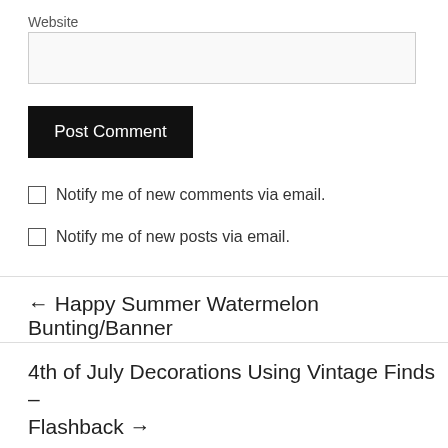Website
Post Comment
Notify me of new comments via email.
Notify me of new posts via email.
← Happy Summer Watermelon Bunting/Banner
4th of July Decorations Using Vintage Finds – Flashback →